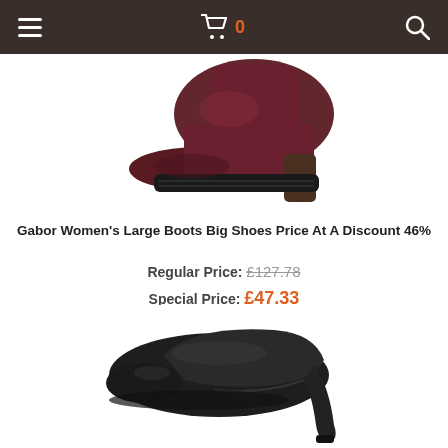Navigation bar with hamburger menu, shopping cart (0), and search icon
[Figure (photo): Dark red/burgundy women's chunky heel boot photographed from the side on white background]
Gabor Women's Large Boots Big Shoes Price At A Discount 46%
Regular Price: £127.78
Special Price: £47.33
[Figure (photo): Black women's high heel pump shoe photographed from the side on white background]